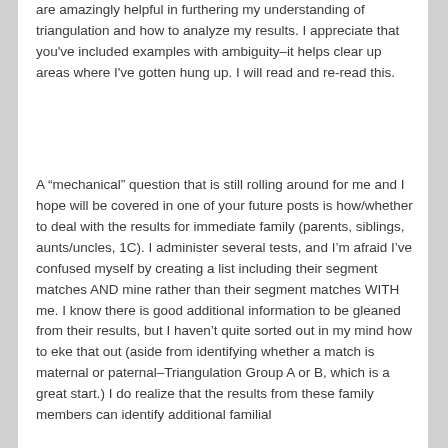are amazingly helpful in furthering my understanding of triangulation and how to analyze my results. I appreciate that you've included examples with ambiguity–it helps clear up areas where I've gotten hung up. I will read and re-read this.
A “mechanical” question that is still rolling around for me and I hope will be covered in one of your future posts is how/whether to deal with the results for immediate family (parents, siblings, aunts/uncles, 1C). I administer several tests, and I’m afraid I’ve confused myself by creating a list including their segment matches AND mine rather than their segment matches WITH me. I know there is good additional information to be gleaned from their results, but I haven’t quite sorted out in my mind how to eke that out (aside from identifying whether a match is maternal or paternal–Triangulation Group A or B, which is a great start.) I do realize that the results from these family members can identify additional familial